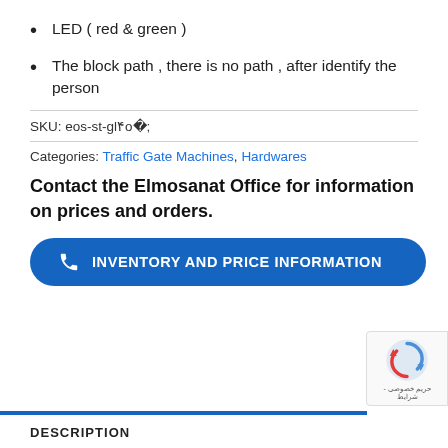LED ( red & green )
The block path , there is no path , after identify the person
SKU: eos-st-gl۴۸
Categories: Traffic Gate Machines, Hardwares
Contact the Elmosanat Office for information on prices and orders.
INVENTORY AND PRICE INFORMATION
DESCRIPTION